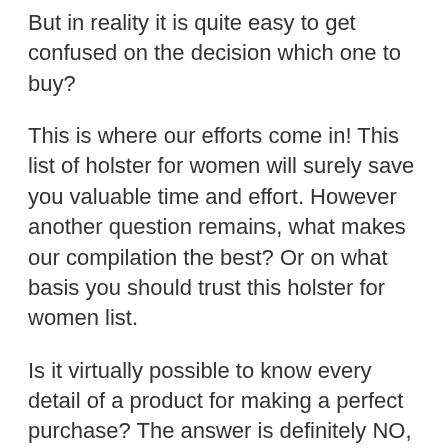But in reality it is quite easy to get confused on the decision which one to buy?
This is where our efforts come in! This list of holster for women will surely save you valuable time and effort. However another question remains, what makes our compilation the best? Or on what basis you should trust this holster for women list.
Is it virtually possible to know every detail of a product for making a perfect purchase? The answer is definitely NO, it's not! Then how do you make the correct decision while buying holster for women? Well, the complexity of selecting a single product from a sea of them